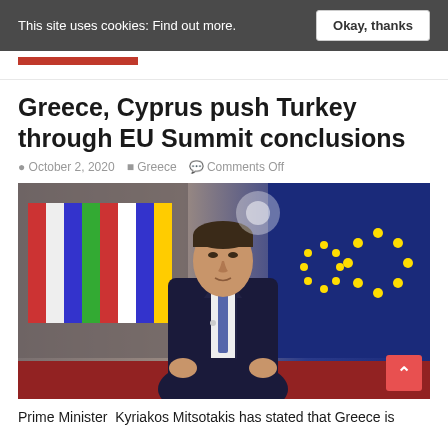This site uses cookies: Find out more.  Okay, thanks
Greece, Cyprus push Turkey through EU Summit conclusions
October 2, 2020  Greece  Comments Off
[Figure (photo): Prime Minister Kyriakos Mitsotakis standing in front of EU flags and international flags, wearing a dark suit and blue tie, gesturing with both hands]
Prime Minister  Kyriakos Mitsotakis has stated that Greece is